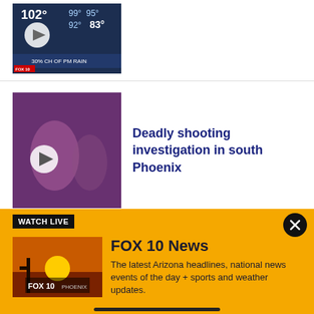[Figure (screenshot): Weather forecast thumbnail showing temperatures 102°, 99°, 95°, 92°, 83° with '30% CH OF PM RAIN' and FOX 10 logo, with play button overlay]
[Figure (screenshot): Blurred crime scene photo thumbnail with play button overlay]
Deadly shooting investigation in south Phoenix
View More
Arizona Morning
[Figure (screenshot): FOX 10 News Watch Live overlay with sunset/saguaro cactus thumbnail]
FOX 10 News
The latest Arizona headlines, national news events of the day + sports and weather updates.